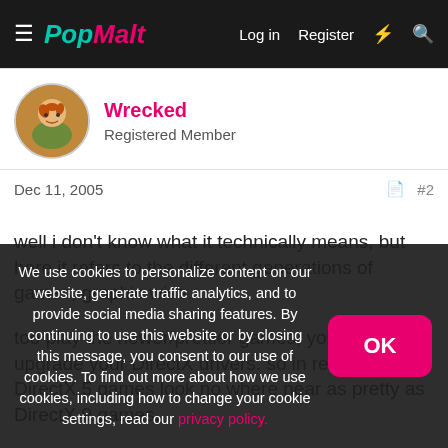PopMalt — Log in  Register
Wrecked
Registered Member
Dec 11, 2005  #2
well i don't know what it technically means, but here it refers to the different generations of games, graphic wise.

too play the newer/prettier games, you need to upgrade your DirectX drivers. so in retrospec, DirectX 5 games look no where near as pretty as DirectX 9 games.
We use cookies to personalize content on our website, generate traffic analytics, and to provide social media sharing features. By continuing to use this website or by closing this message, you consent to our use of cookies. To find out more about how we use cookies, including how to change your cookie settings, read our privacy policy.
Voodoolink
Registered Member